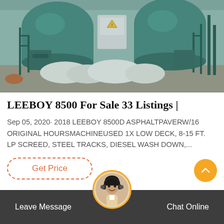[Figure (photo): Industrial machinery photo showing large green/teal cylindrical tanks or hoppers with scaffolding and white sacks/bags on the ground in a factory or industrial setting]
LEEBOY 8500 For Sale 33 Listings |
Sep 05, 2020· 2018 LEEBOY 8500D ASPHALTPAVERW/16 ORIGINAL HOURSMACHINEUSED 1X LOW DECK, 8-15 FT. LP SCREED, STEEL TRACKS, DIESEL WASH DOWN,...
Get Price
Leave Message
Chat Online